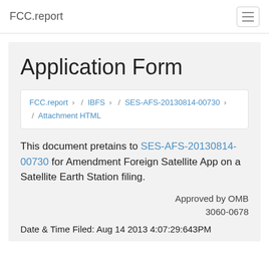FCC.report
Application Form
FCC.report › / IBFS › / SES-AFS-20130814-00730 › / Attachment HTML
This document pretains to SES-AFS-20130814-00730 for Amendment Foreign Satellite App on a Satellite Earth Station filing.
Approved by OMB 3060-0678
Date & Time Filed: Aug 14 2013 4:07:29:643PM